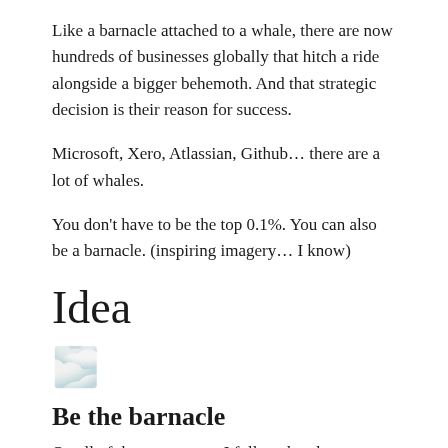Like a barnacle attached to a whale, there are now hundreds of businesses globally that hitch a ride alongside a bigger behemoth. And that strategic decision is their reason for success.
Microsoft, Xero, Atlassian, Github… there are a lot of whales.
You don't have to be the top 0.1%. You can also be a barnacle. (inspiring imagery… I know)
Idea
[Figure (illustration): Cloud emoji]
Be the barnacle
On all of the sports team I follow the players are now